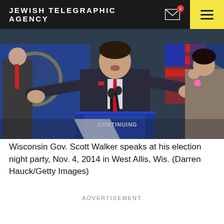JEWISH TELEGRAPHIC AGENCY
[Figure (photo): Wisconsin Gov. Scott Walker speaking at a podium with 'CONTINUING' text visible, arms spread wide, wearing a dark suit and red tie, with flags and supporters in the background]
Wisconsin Gov. Scott Walker speaks at his election night party, Nov. 4, 2014 in West Allis, Wis. (Darren Hauck/Getty Images)
ADVERTISEMENT